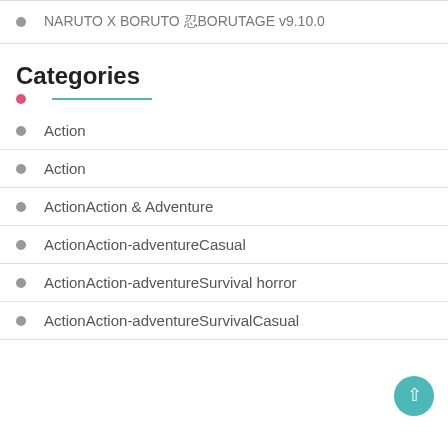NARUTO X BORUTO 忍BORUTAGE v9.10.0
Categories
Action
Action
ActionAction & Adventure
ActionAction-adventureCasual
ActionAction-adventureSurvival horror
ActionAction-adventureSurvivalCasual